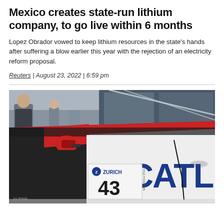Mexico creates state-run lithium company, to go live within 6 months
Lopez Obrador vowed to keep lithium resources in the state's hands after suffering a blow earlier this year with the rejection of an electricity reform proposal.
Reuters | August 23, 2022 | 6:59 pm
[Figure (photo): A white racing car with a large CATL logo on the door, a Zurich number 43 plate, and a red and black side stripe. People visible in the background at what appears to be an auto show.]